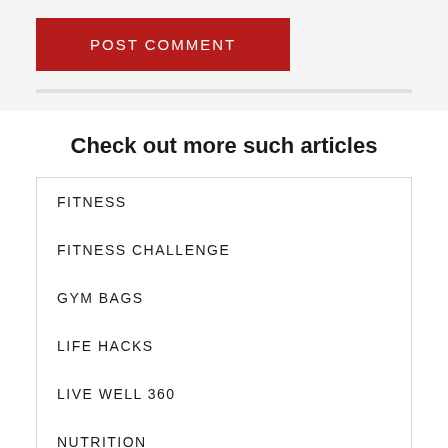POST COMMENT
Check out more such articles
FITNESS
FITNESS CHALLENGE
GYM BAGS
LIFE HACKS
LIVE WELL 360
NUTRITION